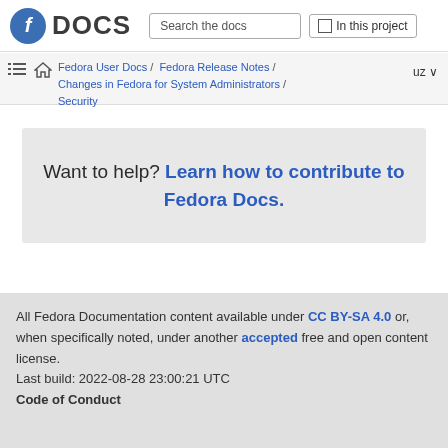Fedora DOCS | Search the docs | In this project
Fedora User Docs / Fedora Release Notes / Changes in Fedora for System Administrators / Security | uz
Want to help? Learn how to contribute to Fedora Docs.
All Fedora Documentation content available under CC BY-SA 4.0 or, when specifically noted, under another accepted free and open content license.
Last build: 2022-08-28 23:00:21 UTC
Code of Conduct